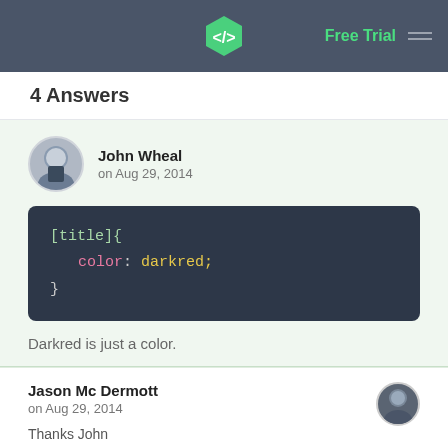Free Trial
4 Answers
John Wheal
on Aug 29, 2014
Darkred is just a color.
Jason Mc Dermott
on Aug 29, 2014
Thanks John